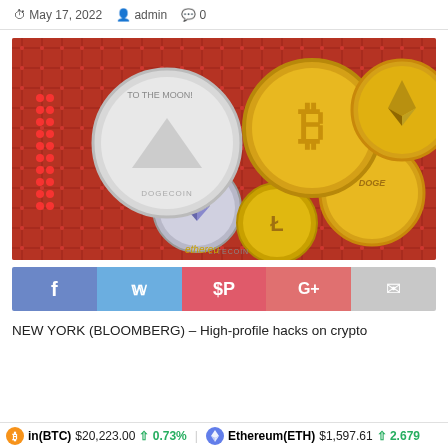May 17, 2022  admin  0
[Figure (photo): Cryptocurrency coins including Bitcoin (gold), Ethereum (silver with diamond logo), Litecoin (silver), Dogecoin (gold with dog), and others arranged on a red circuit board background]
[Figure (infographic): Social sharing buttons: Facebook (f), Twitter (bird), Pinterest (P), Google+ (G+), Email (envelope)]
NEW YORK (BLOOMBERG) – High-profile hacks on crypto
Bitcoin(BTC) $20,223.00 ↑ 0.73%   Ethereum(ETH) $1,597.61 ↑ 2.67%